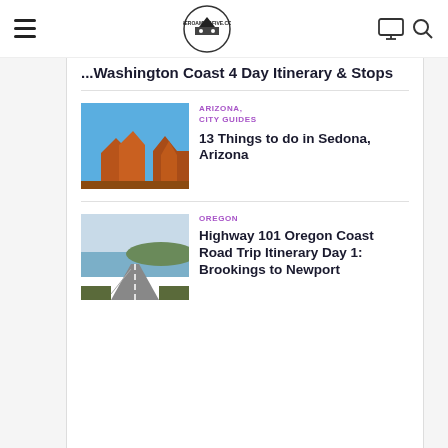theroamingfive.com navigation bar with hamburger menu, logo, monitor icon, search icon
Washington Coast 4 Day Itinerary & Stops
[Figure (photo): Red rock formations in Sedona Arizona against blue sky]
ARIZONA, CITY GUIDES
13 Things to do in Sedona, Arizona
[Figure (photo): Highway 101 along Oregon coast with ocean views]
OREGON
Highway 101 Oregon Coast Road Trip Itinerary Day 1: Brookings to Newport